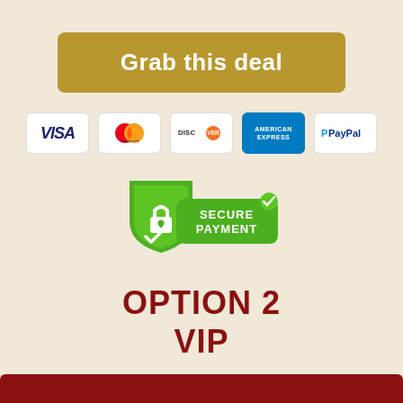Grab this deal
[Figure (infographic): Payment method icons: Visa, Mastercard, Discover, American Express, PayPal on white cards with rounded corners]
[Figure (logo): Secure Payment badge with green shield, padlock and checkmark]
OPTION 2
VIP